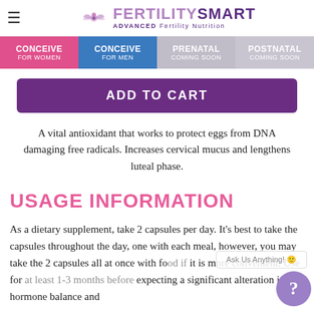FERTILITYSMART ADVANCED Fertility Nutrition
CONCEIVE FOR WOMEN | CONCEIVE FOR MEN | PRENATAL COMING SOON | POSTNATAL COMING SOON
ADD TO CART
A vital antioxidant that works to protect eggs from DNA damaging free radicals. Increases cervical mucus and lengthens luteal phase.
USAGE INFORMATION
As a dietary supplement, take 2 capsules per day. It’s best to take the capsules throughout the day, one with each meal, however, you may take the 2 capsules all at once with food if it is more convenient. Use for at least 1-3 months before expecting a significant alteration in hormone balance and